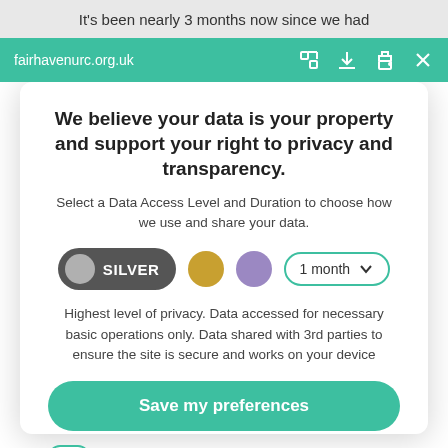It's been nearly 3 months now since we had
fairhavenurc.org.uk
We believe your data is your property and support your right to privacy and transparency.
Select a Data Access Level and Duration to choose how we use and share your data.
[Figure (infographic): Privacy level selector: SILVER toggle button (dark grey), gold circle, purple circle, and a '1 month' dropdown button with teal border]
Highest level of privacy. Data accessed for necessary basic operations only. Data shared with 3rd parties to ensure the site is secure and works on your device
Save my preferences
Customize
Privacy policy